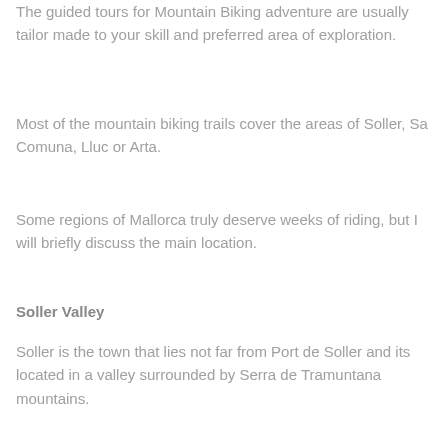The guided tours for Mountain Biking adventure are usually tailor made to your skill and preferred area of exploration.
Most of the mountain biking trails cover the areas of Soller, Sa Comuna, Lluc or Arta.
Some regions of Mallorca truly deserve weeks of riding, but I will briefly discuss the main location.
Soller Valley
Soller is the town that lies not far from Port de Soller and its located in a valley surrounded by Serra de Tramuntana mountains.